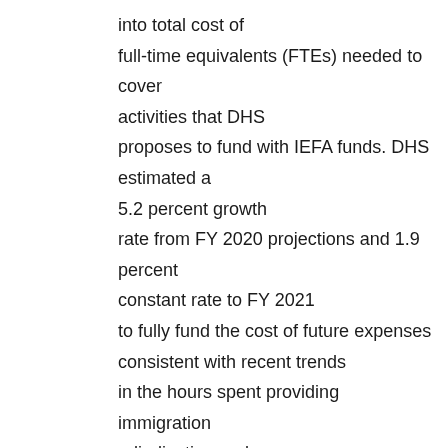into total cost of full-time equivalents (FTEs) needed to cover activities that DHS proposes to fund with IEFA funds. DHS estimated a 5.2 percent growth rate from FY 2020 projections and 1.9 percent constant rate to FY 2021 to fully fund the cost of future expenses consistent with recent trends in the hours spent providing immigration adjudication and naturalization services. The projected growth rate is based on the growth rate for case hours in FY 2017 (517,531 hours), FY 2018 (547,774 hours), and FY 2019 (572,004 hours). There was a 5.84 percent increase